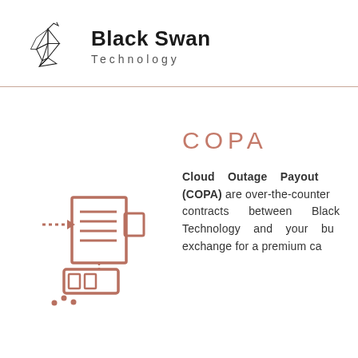[Figure (logo): Black Swan Technology logo: origami-style swan made of triangular geometric lines, with company name 'Black Swan' in bold and 'Technology' in spaced light text]
COPA
[Figure (illustration): Illustrated icon in mauve/rose color showing a document/server system with dashed lines, representing cloud data processing]
Cloud Outage Payout (COPA) are over-the-counter contracts between Black Swan Technology and your bu... exchange for a premium...